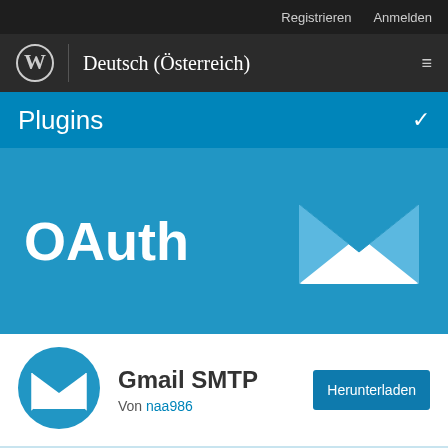Registrieren   Anmelden
Deutsch (Österreich)
Plugins
OAuth
[Figure (illustration): White envelope icon on blue background]
[Figure (logo): Blue circle with white envelope icon - Gmail SMTP plugin logo]
Gmail SMTP
Von naa986
Herunterladen